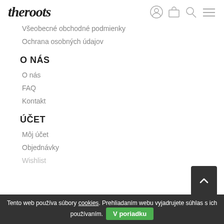[Figure (logo): The Roots logo in italic handwritten style with navigation icons (user, cart, search, menu)]
Všeobecné obchodné podmienky
Ochrana osobných údajov
O NÁS
O nás
FAQ
Kontakt
ÚČET
Môj účet
Objednávky
Wishlist
Tento web používa súbory cookies. Prehliadaním webu vyjadrujete súhlas s ich používaním. V poriadku